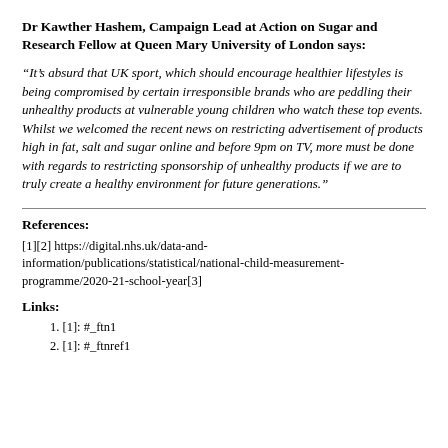Dr Kawther Hashem, Campaign Lead at Action on Sugar and Research Fellow at Queen Mary University of London says:
“It’s absurd that UK sport, which should encourage healthier lifestyles is being compromised by certain irresponsible brands who are peddling their unhealthy products at vulnerable young children who watch these top events. Whilst we welcomed the recent news on restricting advertisement of products high in fat, salt and sugar online and before 9pm on TV, more must be done with regards to restricting sponsorship of unhealthy products if we are to truly create a healthy environment for future generations.”
References:
[1][2] https://digital.nhs.uk/data-and-information/publications/statistical/national-child-measurement-programme/2020-21-school-year[3]
Links:
1. [1]: #_ftn1
2. [1]: #_ftnref1